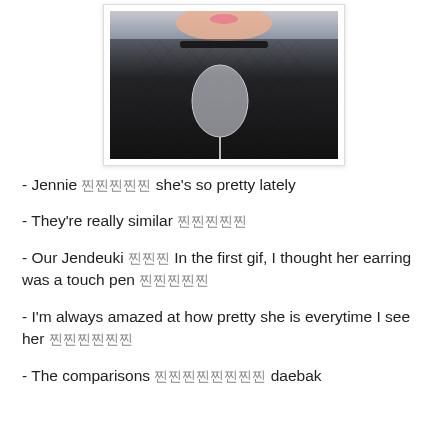[Figure (photo): Photo of a person (Jennie) wearing a black fishnet top and choker necklace, holding a white handheld fan, with a blue background. Photo is in a white frame with a thin border.]
- Jennie 찐찐찐찐찐 she's so pretty lately
- They're really similar 찐찐찐찐찐
- Our Jendeuki 찐찐찐 In the first gif, I thought her earring was a touch pen 찐찐찐찐찐
- I'm always amazed at how pretty she is everytime I see her 찐찐찐찐찐찐
- The comparisons 찐찐찐찐찐찐찐찐 daebak